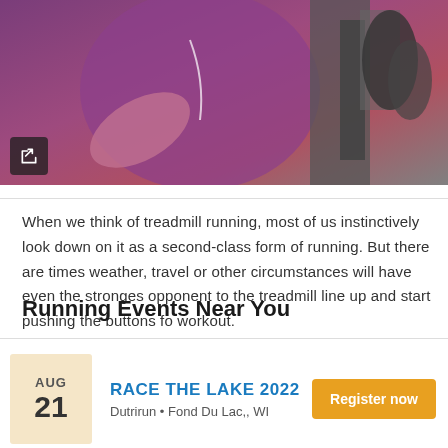[Figure (photo): Person in purple/magenta top running on a treadmill, holding handlebar, wearing earbuds. Share icon button in lower left of image.]
When we think of treadmill running, most of us instinctively look down on it as a second-class form of running. But there are times weather, travel or other circumstances will have even the strongest opponent to the treadmill line up and start pushing the buttons for workout.
Running Events Near You
RACE THE LAKE 2022
Dutrirun • Fond Du Lac,, WI